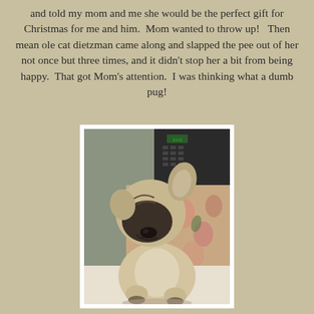and told my mom and me she would be the perfect gift for Christmas for me and him.  Mom wanted to throw up!   Then mean ole cat dietzman came along and slapped the pee out of her not once but three times, and it didn't stop her a bit from being happy.  That got Mom's attention.  I was thinking what a dumb pug!
[Figure (photo): A pug puppy sitting upright on a white surface, with a black wrinkled face, fawn/cream body, and dark markings. In the background there is a black electronic device (possibly a phone or calculator) and a floral patterned chair or fabric.]